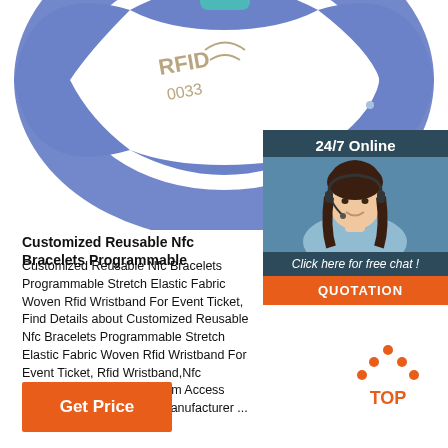[Figure (photo): Close-up photo of a blue RFID/NFC wristband with text 'RFID 0033' and signal waves embossed on it, on white background]
[Figure (photo): Chat widget showing '24/7 Online', a woman wearing a headset smiling, 'Click here for free chat!' text, and an orange QUOTATION button]
Customized Reusable Nfc Bracelets Programmable
Customized Reusable Nfc Bracelets Programmable Stretch Elastic Fabric Woven Rfid Wristband For Event Ticket, Find Details about Customized Reusable Nfc Bracelets Programmable Stretch Elastic Fabric Woven Rfid Wristband For Event Ticket, Rfid Wristband,Nfc Bracelet,Rfid Wristband from Access Control Card Supplier or Manufacturer ...
[Figure (other): TOP navigation button with orange dots forming an upward arrow above the word TOP]
Get Price